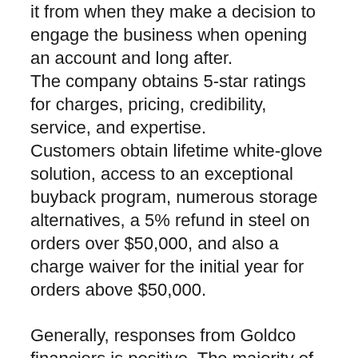it from when they make a decision to engage the business when opening an account and long after.
The company obtains 5-star ratings for charges, pricing, credibility, service, and expertise.
Customers obtain lifetime white-glove solution, access to an exceptional buyback program, numerous storage alternatives, a 5% refund in steel on orders over $50,000, and also a charge waiver for the initial year for orders above $50,000.
Generally, responses from Goldco financiers is positive. The majority of customers seem pleased with the services and products supplied by the business. In August 2020, Goldco came to be a certified company by